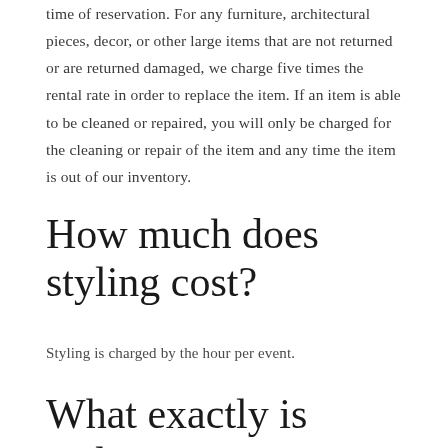time of reservation. For any furniture, architectural pieces, decor, or other large items that are not returned or are returned damaged, we charge five times the rental rate in order to replace the item. If an item is able to be cleaned or repaired, you will only be charged for the cleaning or repair of the item and any time the item is out of our inventory.
How much does styling cost?
Styling is charged by the hour per event.
What exactly is styling?